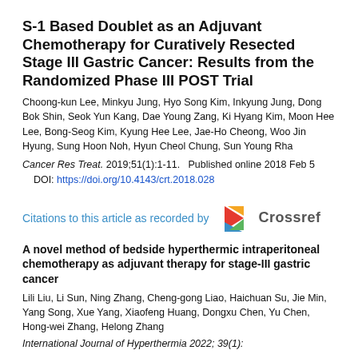S-1 Based Doublet as an Adjuvant Chemotherapy for Curatively Resected Stage III Gastric Cancer: Results from the Randomized Phase III POST Trial
Choong-kun Lee, Minkyu Jung, Hyo Song Kim, Inkyung Jung, Dong Bok Shin, Seok Yun Kang, Dae Young Zang, Ki Hyang Kim, Moon Hee Lee, Bong-Seog Kim, Kyung Hee Lee, Jae-Ho Cheong, Woo Jin Hyung, Sung Hoon Noh, Hyun Cheol Chung, Sun Young Rha
Cancer Res Treat. 2019;51(1):1-11.   Published online 2018 Feb 5
   DOI: https://doi.org/10.4143/crt.2018.028
Citations to this article as recorded by Crossref
A novel method of bedside hyperthermic intraperitoneal chemotherapy as adjuvant therapy for stage-III gastric cancer
Lili Liu, Li Sun, Ning Zhang, Cheng-gong Liao, Haichuan Su, Jie Min, Yang Song, Xue Yang, Xiaofeng Huang, Dongxu Chen, Yu Chen, Hong-wei Zhang, Helong Zhang
International Journal of Hyperthermia 2022; 39(1):